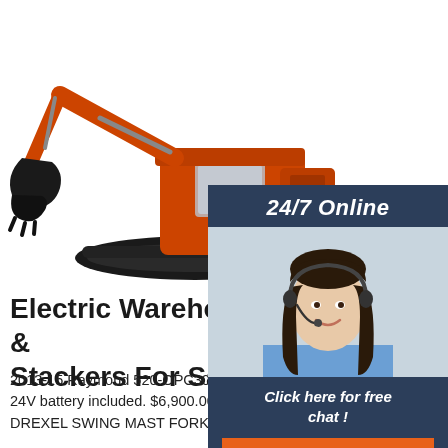[Figure (photo): Orange excavator/construction machine on white background, showing the arm/bucket on the left and the cab/body on the right with tracks visible]
[Figure (photo): 24/7 Online chat widget with dark blue background header reading '24/7 Online', a photo of a smiling woman with dark hair wearing a headset and blue shirt, italic text 'Click here for free chat !' and an orange button labeled 'QUOTATION']
Electric Warehouse Forklifts & Stackers For Sale
2013-15 Raymond 520-OPC30TT Order Pickers 95/210 Mast, 24V battery included. $6,900.00. Local Pickup. or Best Offer. DREXEL SWING MAST FORKLIFT ONLY 1037 HRS. AS ...